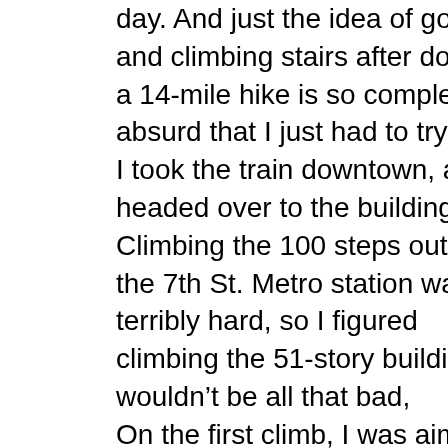day. And just the idea of going and climbing stairs after doing a 14-mile hike is so completely absurd that I just had to try it.

I took the train downtown, and I headed over to the building. Climbing the 100 steps out of the 7th St. Metro station wasn't terribly hard, so I figured climbing the 51-story building wouldn't be all that bad,

On the first climb, I was aiming for a pace of 5 floors per minute. That would get me to the top in about 10:15. It's a modest pace, but still way faster than I'd done on my eighth climb up